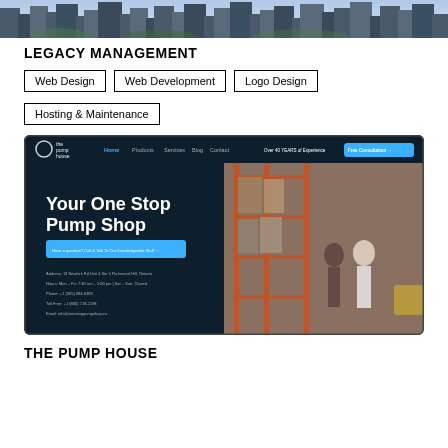[Figure (photo): Aerial cityscape photo showing dense urban buildings]
LEGACY MANAGEMENT
Web Design
Web Development
Logo Design
Hosting & Maintenance
[Figure (screenshot): Screenshot of The Pump House website showing dark navy header with 'Your One Stop Pump Shop' headline and warehouse photo on the right]
THE PUMP HOUSE